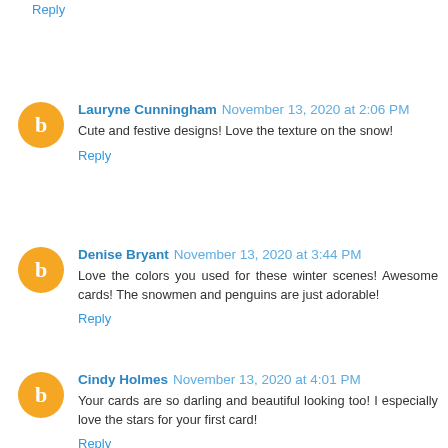Reply
Lauryne Cunningham November 13, 2020 at 2:06 PM
Cute and festive designs! Love the texture on the snow!
Reply
Denise Bryant November 13, 2020 at 3:44 PM
Love the colors you used for these winter scenes! Awesome cards! The snowmen and penguins are just adorable!
Reply
Cindy Holmes November 13, 2020 at 4:01 PM
Your cards are so darling and beautiful looking too! I especially love the stars for your first card!
Reply